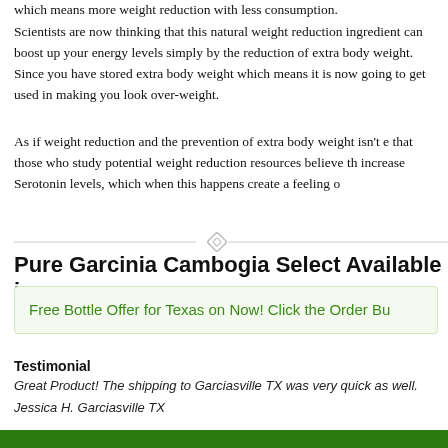which means more weight reduction with less consumption.
Scientists are now thinking that this natural weight reduction ingredient can boost up your energy levels simply by the reduction of extra body weight. Since you have stored extra body weight which means it is now going to get used instead of just making you look over-weight.
As if weight reduction and the prevention of extra body weight isn't enough, that those who study potential weight reduction resources believe this ingredient can increase Serotonin levels, which when this happens create a feeling of...
Pure Garcinia Cambogia Select Available in
Free Bottle Offer for Texas on Now! Click the Order Bu...
Testimonial
Great Product! The shipping to Garciasville TX was very quick as well.
Jessica H. Garciasville TX